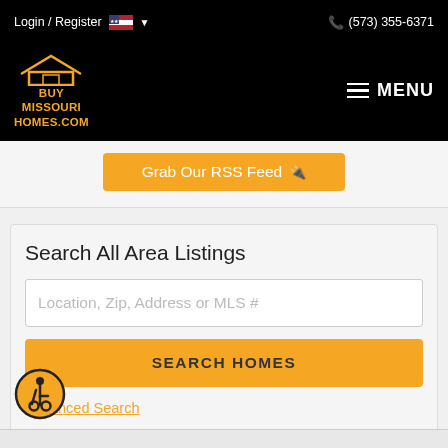Login / Register  (573) 355-6371
[Figure (logo): Buy Missouri Homes.com logo with house icon in orange/gold on black background]
MENU
Grab Our RSS Feed
Search All Area Listings
Location, Zip, Address or MLS #
SEARCH HOMES
Advanced Search
[Figure (illustration): Wheelchair accessibility icon — person in wheelchair, circular orange badge with black border]